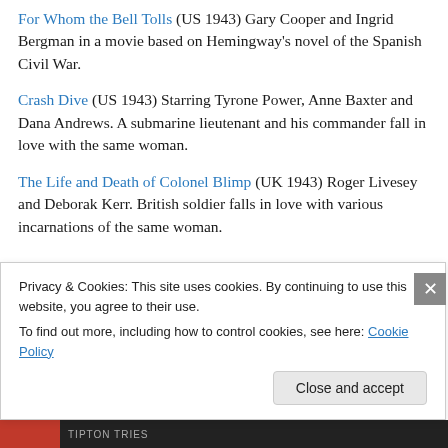For Whom the Bell Tolls (US 1943) Gary Cooper and Ingrid Bergman in a movie based on Hemingway's novel of the Spanish Civil War.
Crash Dive (US 1943) Starring Tyrone Power, Anne Baxter and Dana Andrews. A submarine lieutenant and his commander fall in love with the same woman.
The Life and Death of Colonel Blimp (UK 1943) Roger Livesey and Deborak Kerr. British soldier falls in love with various incarnations of the same woman.
Privacy & Cookies: This site uses cookies. By continuing to use this website, you agree to their use.
To find out more, including how to control cookies, see here: Cookie Policy
Close and accept